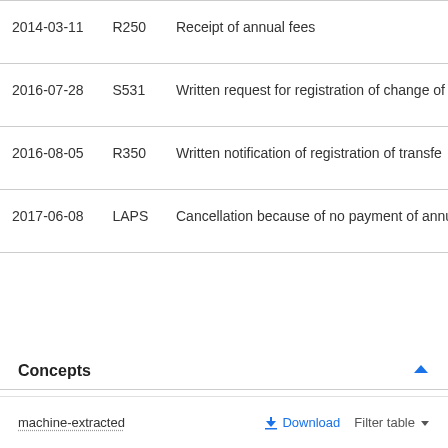| Date | Code | Description |
| --- | --- | --- |
| 2014-03-11 | R250 | Receipt of annual fees |
| 2016-07-28 | S531 | Written request for registration of change of |
| 2016-08-05 | R350 | Written notification of registration of transfe |
| 2017-06-08 | LAPS | Cancellation because of no payment of annu |
Concepts
machine-extracted
Download   Filter table